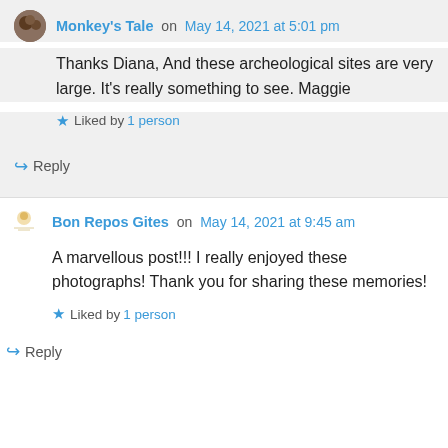Monkey's Tale on May 14, 2021 at 5:01 pm
Thanks Diana, And these archeological sites are very large. It's really something to see. Maggie
Liked by 1 person
Reply
Bon Repos Gites on May 14, 2021 at 9:45 am
A marvellous post!!! I really enjoyed these photographs! Thank you for sharing these memories!
Liked by 1 person
Reply